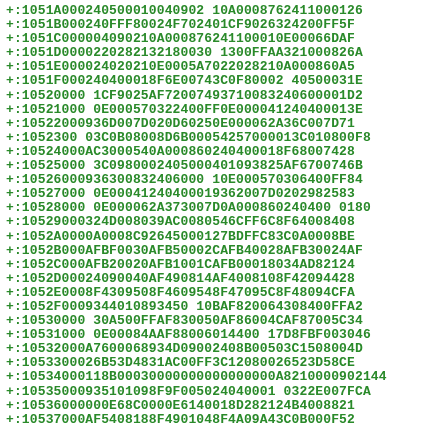+:1051A000240500010040902 10A0008762411000126
+:1051B000240FFF80024F702401CF90263242 00FF5F
+:1051C000004090210A000876241100010E00066DAF
+:1051D0000220282132180030 1300FFAA321000826A
+:1051E000024020210E0005A70 22028210A000860A5
+:1051F0002404000 18F6E00743C0F80002 40500031E
+:10520000 1CF9025AF720074937100832 40600001D2
+:10521000 0E000570322400FF0E00004 1240400013E
+:10522000936D007D020D60250E000062A36C007D71
+:1052300 03C0B08008D6B00054257000013C010800F8
+:10524000AC3000540A000860240400018F68007428
+:10525000 3C0980002405000401093825AF6700746B
+:1052600093630083240600010E000570306400FF84
+:10527000 0E000412404000 19362007D0202982583
+:10528000 0E000062A373007D0A0008602404000180
+:10529000324D008039AC0080546CFF6C8F64008408
+:1052A0000A0008C92645000127BDFFC83C0A0008BE
+:1052B000AFBF0030AFB50002CAFB40028AFB30024AF
+:1052C000AFB20020AFB1001CAFB000 18034AD82124
+:1052D00024090040AF490814AF4008108F42094428
+:1052E0008F4309508F4609548F47095C8F48094CFA
+:1052F0009344010893450 10BAF820064308400FFA2
+:10530000 30A500FFAF830050AF86004CAF87005C34
+:10531000 0E00084AAF88006014400 17D8FBF003046
+:10532000A7600068934D09002408B00503C1508004D
+:1053300026B53D4831AC00FF3C12080026523D58CE
+:10534000118B000300000000000000 00A82100009021 44
+:10535000935101098F9F00502404000 10322E007FCA
+:10536000000E68C0000E6140018D282124B4008821
+:10537000AF5408188F4901048F4A09A43C0B000F52